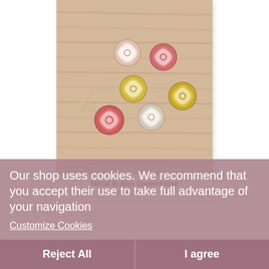[Figure (photo): Photo of several flower-shaped metal buttons (enamel, in pink/red, white, and yellow/gold colors) arranged on a wooden surface, with a small dried floral element at left]
Metal Button Gwendoline
From €0.81
Our shop uses cookies. We recommend that you accept their use to take full advantage of your navigation
Customize Cookies
Reject All
I agree